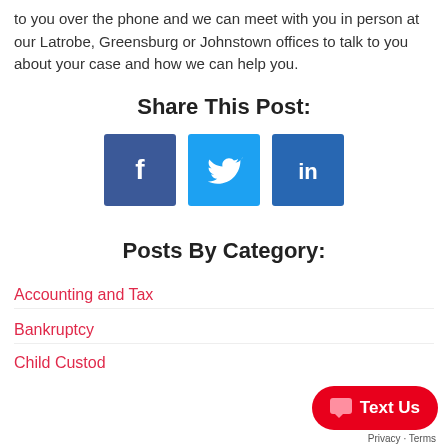to you over the phone and we can meet with you in person at our Latrobe, Greensburg or Johnstown offices to talk to you about your case and how we can help you.
Share This Post:
[Figure (infographic): Three social media share buttons: Facebook (dark blue), Twitter (light blue), LinkedIn (medium blue)]
Posts By Category:
Accounting and Tax
Bankruptcy
Child Custody